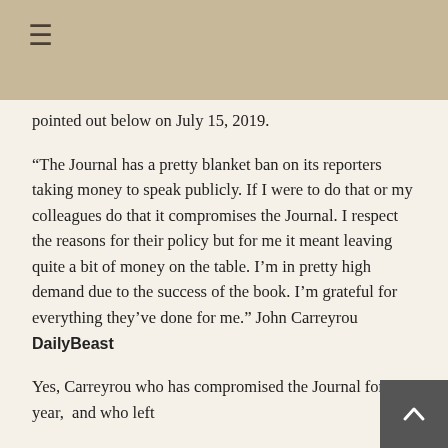☰
pointed out below on July 15, 2019.
“The Journal has a pretty blanket ban on its reporters taking money to speak publicly. If I were to do that or my colleagues do that it compromises the Journal. I respect the reasons for their policy but for me it meant leaving quite a bit of money on the table. I’m in pretty high demand due to the success of the book. I’m grateful for everything they’ve done for me.” John Carreyrou DailyBeast
Yes, Carreyrou who has compromised the Journal for a year,  and who left